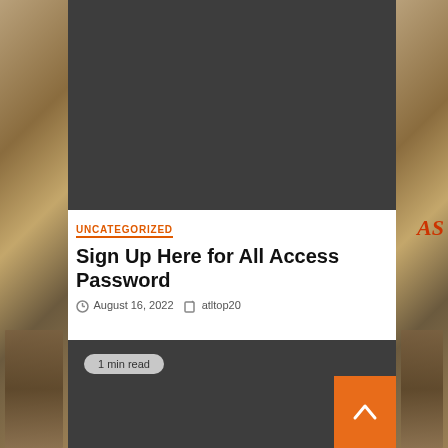[Figure (photo): Dark gray placeholder image area at top of article]
UNCATEGORIZED
Sign Up Here for All Access Password
August 16, 2022   atltop20
[Figure (photo): Dark gray content area with '1 min read' badge and orange scroll-to-top button]
1 min read